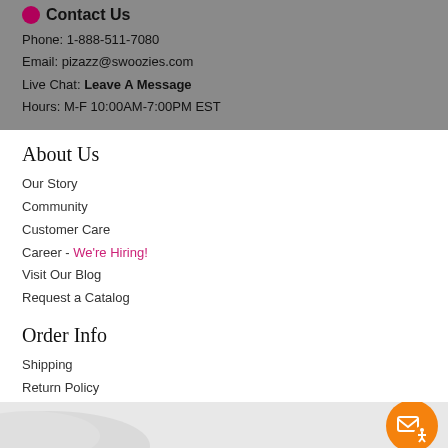Contact Us
Phone: 1-888-511-7080
Email: pizazz@swoozies.com
Live Chat: Leave A Message
Hours: M-F 10:00AM-7:00PM EST
About Us
Our Story
Community
Customer Care
Career - We're Hiring!
Visit Our Blog
Request a Catalog
Order Info
Shipping
Return Policy
FAQ
Store Locations
New Denver location now open!
Now Swoo-ing in Cherry Hills Marketplace